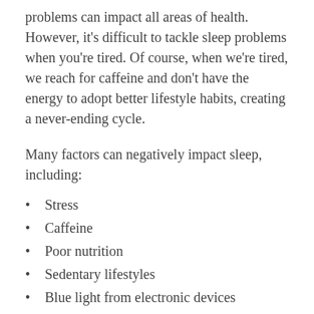problems can impact all areas of health. However, it's difficult to tackle sleep problems when you're tired. Of course, when we're tired, we reach for caffeine and don't have the energy to adopt better lifestyle habits, creating a never-ending cycle.
Many factors can negatively impact sleep, including:
Stress
Caffeine
Poor nutrition
Sedentary lifestyles
Blue light from electronic devices
Medical problems like restless leg syndrome
Chronic pain